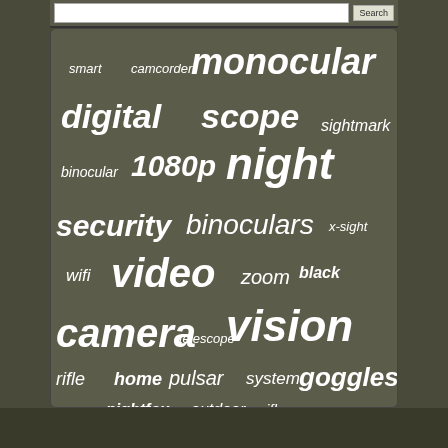[Figure (infographic): Word cloud of search terms related to night vision, cameras, and optics on a dark olive/brown background. Terms include: monocular, digital, scope, sightmark, binocular, 1080p, night, security, binoculars, x-sight, wifi, video, zoom, black, camera, vision, telescope, rifle, home, pulsar, system, goggles, nightfox, outdoor, riflescope, infrared, cctv, hunting, recorder, wraith, ultra, doorbell, wireless, smart, camcorder]